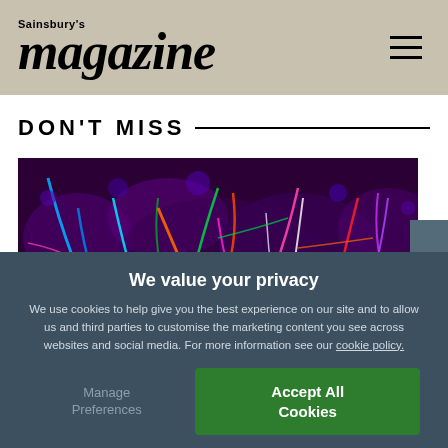Sainsbury's magazine
DON'T MISS
[Figure (photo): Colorful neon light streaks on tree branches against purple background]
We value your privacy
We use cookies to help give you the best experience on our site and to allow us and third parties to customise the marketing content you see across websites and social media. For more information see our cookie policy.
Manage Preferences
Accept All Cookies